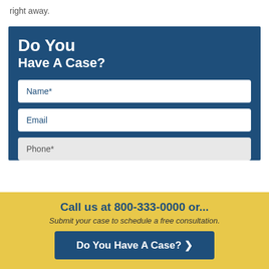right away.
Do You Have A Case?
Name*
Email
Phone*
Call us at 800-333-0000 or...
Submit your case to schedule a free consultation.
Do You Have A Case? ❯